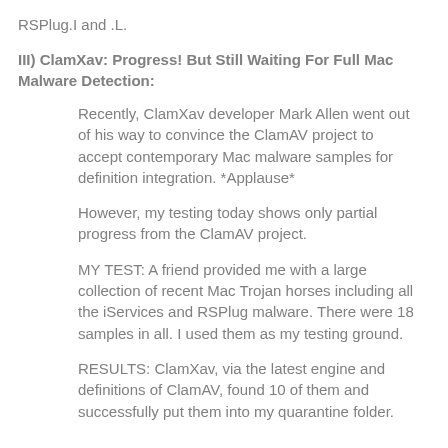RSPlug.I and .L.
III) ClamXav: Progress! But Still Waiting For Full Mac Malware Detection:
Recently, ClamXav developer Mark Allen went out of his way to convince the ClamAV project to accept contemporary Mac malware samples for definition integration. *Applause*
However, my testing today shows only partial progress from the ClamAV project.
MY TEST: A friend provided me with a large collection of recent Mac Trojan horses including all the iServices and RSPlug malware. There were 18 samples in all. I used them as my testing ground.
RESULTS: ClamXav, via the latest engine and definitions of ClamAV, found 10 of them and successfully put them into my quarantine folder.